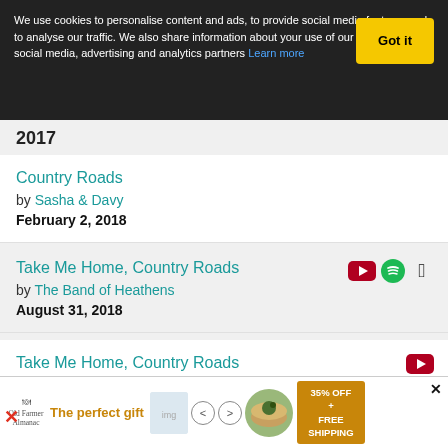We use cookies to personalise content and ads, to provide social media features and to analyse our traffic. We also share information about your use of our site with our social media, advertising and analytics partners Learn more  Got it
2017
Country Roads by Sasha & Davy February 2, 2018
Take Me Home, Country Roads by The Band of Heathens August 31, 2018
Take Me Home, Country Roads by Anne Reburn September 12, 2018
Country Roads
[Figure (screenshot): Advertisement banner: The perfect gift, 35% OFF + FREE SHIPPING]